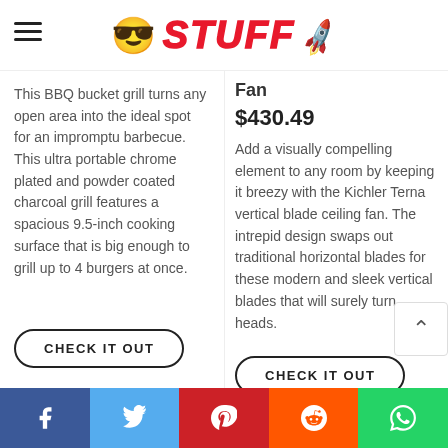STUFF (logo with emoji and rocket)
This BBQ bucket grill turns any open area into the ideal spot for an impromptu barbecue. This ultra portable chrome plated and powder coated charcoal grill features a spacious 9.5-inch cooking surface that is big enough to grill up to 4 burgers at once.
CHECK IT OUT
Fan
$430.49
Add a visually compelling element to any room by keeping it breezy with the Kichler Terna vertical blade ceiling fan. The intrepid design swaps out traditional horizontal blades for these modern and sleek vertical blades that will surely turn heads.
CHECK IT OUT
Facebook | Twitter | Pinterest | Reddit | WhatsApp